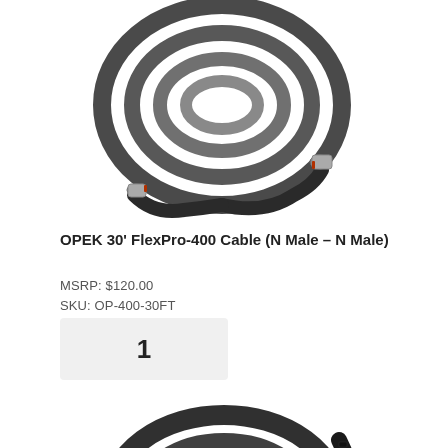[Figure (photo): Coiled black coaxial cable with N-Male connectors on both ends, OPEK 30ft FlexPro-400]
OPEK 30' FlexPro-400 Cable (N Male – N Male)
MSRP: $120.00
SKU: OP-400-30FT
1
[Figure (photo): Partially visible coiled black cable at bottom of page]